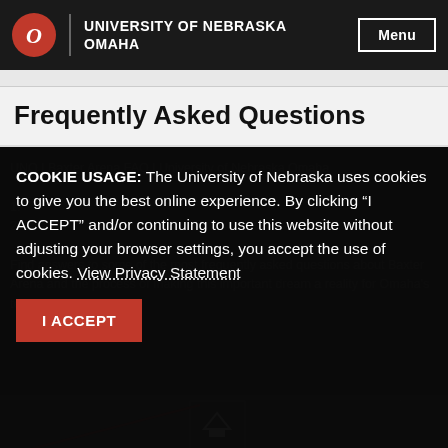UNIVERSITY OF NEBRASKA OMAHA
Frequently Asked Questions
COOKIE USAGE: The University of Nebraska uses cookies to give you the best online experience. By clicking “I ACCEPT” and/or continuing to use this website without adjusting your browser settings, you accept the use of cookies. View Privacy Statement
Find answers to some of the most frequently asked questions about Baxter Arena and the process of making this important dream a reality for Omaha’s team – the Mavericks.